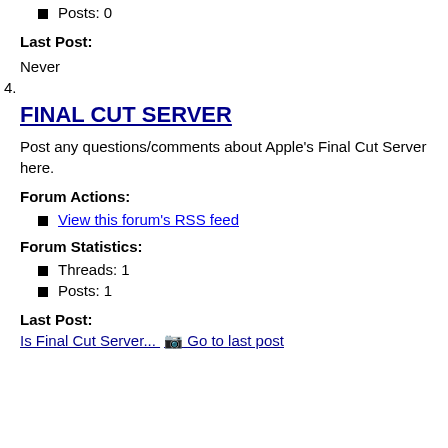Posts: 0
Last Post:
Never
4.
FINAL CUT SERVER
Post any questions/comments about Apple's Final Cut Server here.
Forum Actions:
View this forum's RSS feed
Forum Statistics:
Threads: 1
Posts: 1
Last Post:
Is Final Cut Server...  Go to last post